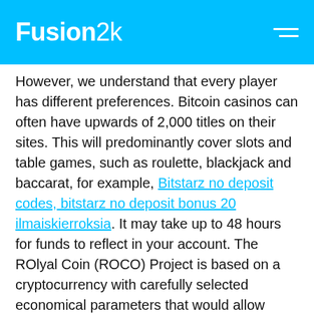Fusion2k
However, we understand that every player has different preferences. Bitcoin casinos can often have upwards of 2,000 titles on their sites. This will predominantly cover slots and table games, such as roulette, blackjack and baccarat, for example, Bitstarz no deposit codes, bitstarz no deposit bonus 20 ilmaiskierroksia. It may take up to 48 hours for funds to reflect in your account. The ROlyal Coin (ROCO) Project is based on a cryptocurrency with carefully selected economical parameters that would allow prolonged and stable passive income of ROCO MN owners. Our project was initially designed with the aim to back up early MN investors in their risky choices when purchasing masternodes of emerging coins. It was planned to help filter off the vast streams of informational noise and thus save time and maximize the profits. However, the market reality was harder that one could expect, but we survived and directed our